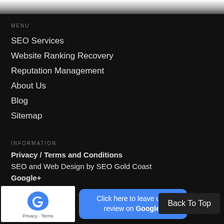MENU
SEO Services
Website Ranking Recovery
Reputation Management
About Us
Blog
Sitemap
INFORMATION
Privacy / Terms and Conditions
SEO and Web Design by SEO Gold Coast
Google+
4.8 rating out of 5 reviews on Google My Business.
[Figure (logo): reCAPTCHA logo with Privacy - Terms text below]
Click here to leave us a review on Google!
Back To Top